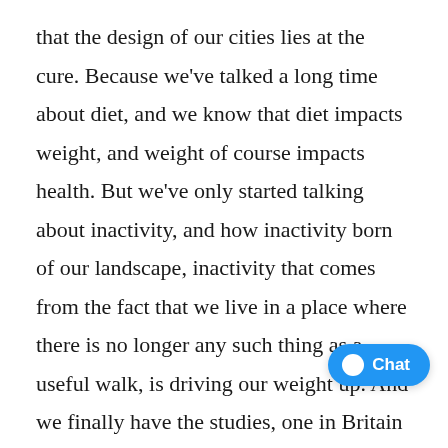that the design of our cities lies at the cure. Because we've talked a long time about diet, and we know that diet impacts weight, and weight of course impacts health. But we've only started talking about inactivity, and how inactivity born of our landscape, inactivity that comes from the fact that we live in a place where there is no longer any such thing as a useful walk, is driving our weight up. And we finally have the studies, one in Britain called “Gluttony versus sloth” that tracked weight against diet and tracked weight against inactivity, and found a much higher, stronger correlation between the Dr. James Levine at, in this case, the aptly-named